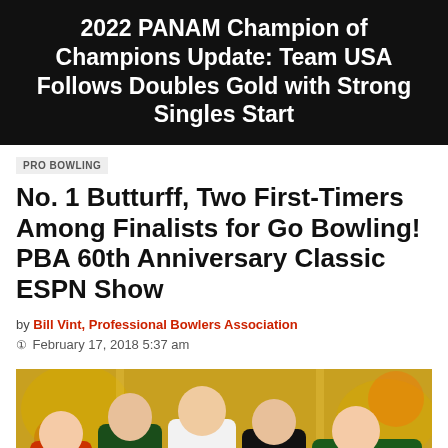2022 PANAM Champion of Champions Update: Team USA Follows Doubles Gold with Strong Singles Start
PRO BOWLING
No. 1 Butturff, Two First-Timers Among Finalists for Go Bowling! PBA 60th Anniversary Classic ESPN Show
by Bill Vint, Professional Bowlers Association
© February 17, 2018 5:37 am
[Figure (photo): Group photo of five male bowlers in bowling jerseys standing together in front of a colorful bowling alley backdrop. From left to right: a bowler in an orange Columbia 300 jersey, two bowlers in dark green jerseys, a bowler in a white jersey, a bowler in a black Track jersey, and a bowler in a green jersey on the far right.]